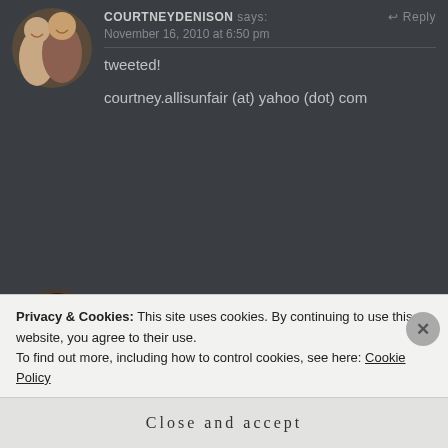[Figure (photo): Circular avatar photo of COURTNEYDENISON, two women smiling]
COURTNEYDENISON says: ↩ Reply
November 16, 2010 at 6:50 pm
tweeted!
courtney.allisunfair (at) yahoo (dot) com
[Figure (photo): Circular avatar photo of ALICE, woman with long dark hair smiling]
ALICE says: ↩ Reply
November 16, 2010 at 9:19 pm
1. I follow via bloglovin
Privacy & Cookies: This site uses cookies. By continuing to use this website, you agree to their use.
To find out more, including how to control cookies, see here: Cookie Policy
Close and accept